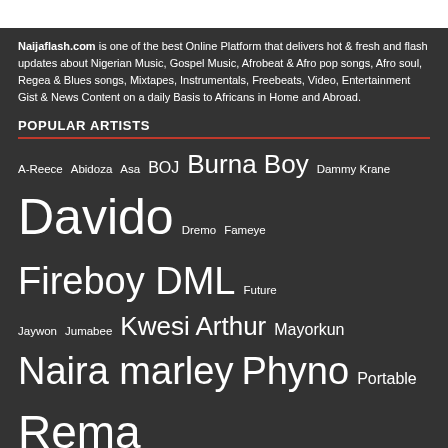Naijaflash.com is one of the best Online Platform that delivers hot & fresh and flash updates about Nigerian Music, Gospel Music, Afrobeat & Afro pop songs, Afro soul, Regea & Blues songs, Mixtapes, Instrumentals, Freebeats, Video, Entertainment Gist & News Content on a daily Basis to Africans in Home and Abroad.
POPULAR ARTISTS
A-Reece
Abidoza
Asa
BOJ
Burna Boy
Dammy Krane
Davido
Dremo
Fameye
Fireboy DML
Future
Jaywon
Jumabee
Kwesi Arthur
Mayorkun
Naira marley
Phyno
Portable
Rema
Shatta Wale
Simi
Teni
Yemi Alade
Zlatan